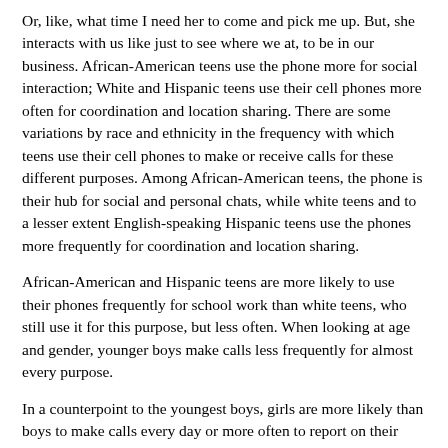Or, like, what time I need her to come and pick me up. But, she interacts with us like just to see where we at, to be in our business. African-American teens use the phone more for social interaction; White and Hispanic teens use their cell phones more often for coordination and location sharing. There are some variations by race and ethnicity in the frequency with which teens use their cell phones to make or receive calls for these different purposes. Among African-American teens, the phone is their hub for social and personal chats, while white teens and to a lesser extent English-speaking Hispanic teens use the phones more frequently for coordination and location sharing.
African-American and Hispanic teens are more likely to use their phones frequently for school work than white teens, who still use it for this purpose, but less often. When looking at age and gender, younger boys make calls less frequently for almost every purpose.
In a counterpoint to the youngest boys, girls are more likely than boys to make calls every day or more often to report on their whereabouts, talk about things related to school work or have long, personal conversations. Similarly, older teens ages are more likely to say that at least once a day they coordinate meeting someone or discuss location, and are more likely than younger teens to say that they call to discuss school work or have long personal conversations. Teens who report primarily using voice calling